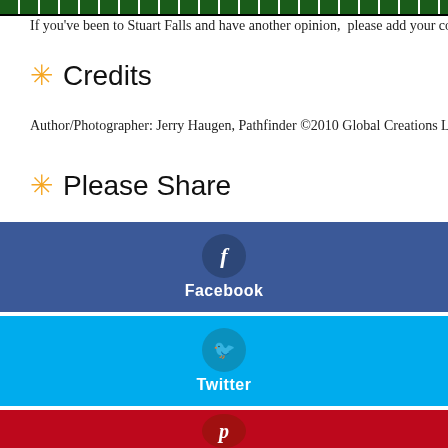[Figure (other): Dark green striped bar/divider at top of page]
If you've been to Stuart Falls and have another opinion,  please add your comm…
Credits
Author/Photographer: Jerry Haugen, Pathfinder ©2010 Global Creations LLC,
Please Share
[Figure (other): Facebook share button — dark blue background with white 'f' icon circle and 'Facebook' label]
[Figure (other): Twitter share button — cyan/light blue background with white bird icon circle and 'Twitter' label]
[Figure (other): Pinterest share button — red background with white 'P' icon circle, partially visible]